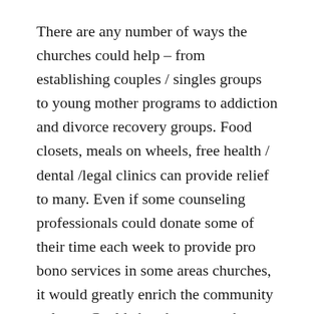There are any number of ways the churches could help – from establishing couples / singles groups to young mother programs to addiction and divorce recovery groups. Food closets, meals on wheels, free health / dental /legal clinics can provide relief to many. Even if some counseling professionals could donate some of their time each week to provide pro bono services in some areas churches, it would greatly enrich the community at large. Could churches network together to provide these services to the community? Yes!
Cell groups / churches can provide much first line pastoral ministry to the walking dead – and will be there for those really struggling to